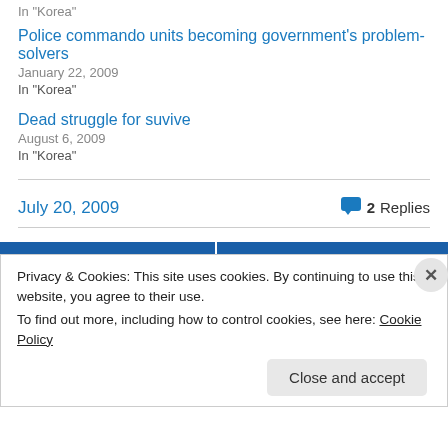In "Korea"
Police commando units becoming government's problem-solvers
January 22, 2009
In "Korea"
Dead struggle for suvive
August 6, 2009
In "Korea"
July 20, 2009
2 Replies
Privacy & Cookies: This site uses cookies. By continuing to use this website, you agree to their use.
To find out more, including how to control cookies, see here: Cookie Policy
Close and accept